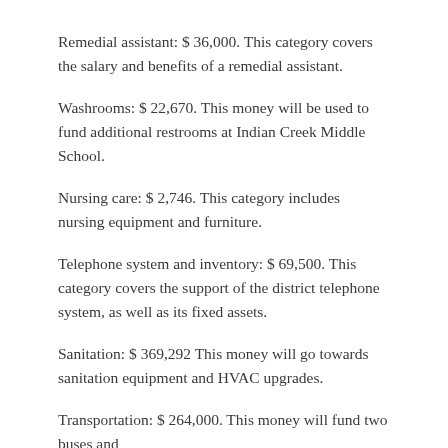Remedial assistant: $ 36,000. This category covers the salary and benefits of a remedial assistant.
Washrooms: $ 22,670. This money will be used to fund additional restrooms at Indian Creek Middle School.
Nursing care: $ 2,746. This category includes nursing equipment and furniture.
Telephone system and inventory: $ 69,500. This category covers the support of the district telephone system, as well as its fixed assets.
Sanitation: $ 369,292 This money will go towards sanitation equipment and HVAC upgrades.
Transportation: $ 264,000. This money will fund two buses and